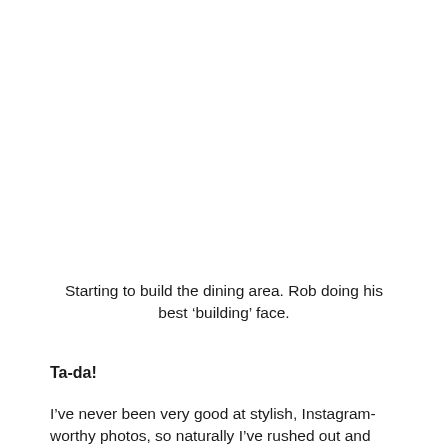Starting to build the dining area. Rob doing his best ‘building’ face.
Ta-da!
I’ve never been very good at stylish, Instagram-worthy photos, so naturally I’ve rushed out and